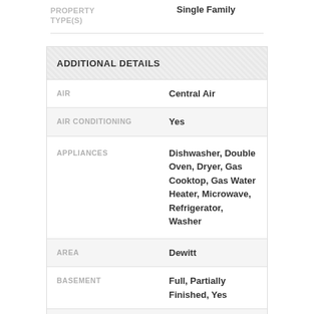| Field | Value |
| --- | --- |
| PROPERTY TYPE(S) | Single Family |
| AIR | Central Air |
| AIR CONDITIONING | Yes |
| APPLIANCES | Dishwasher, Double Oven, Dryer, Gas Cooktop, Gas Water Heater, Microwave, Refrigerator, Washer |
| AREA | Dewitt |
| BASEMENT | Full, Partially Finished, Yes |
| CONSTRUCTION | Brick, Copper Plumbing, Wood Siding |
| EXTERIOR | Blacktop Driveway, Patio |
| FIREPLACE | Yes |